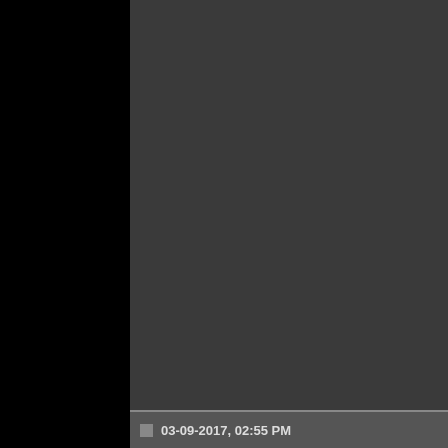Would pure Warlock d... Been a long time sinc...
Thoughts? Suggestio...
If you want to just blast throu... any cleaving melee would be... and aoe is king for speed. I p... early on a bad race, then try... end. Maybe do helf late in th... handaxe.
Probably gnome first (umd ru... said ranged is gonna pay off... want to run on a WF though)
1-20 character building is ve... wanna stay pure? Probably r... <10% of it's playtime. So lots... and defender stance, option...
03-09-2017, 02:55 PM